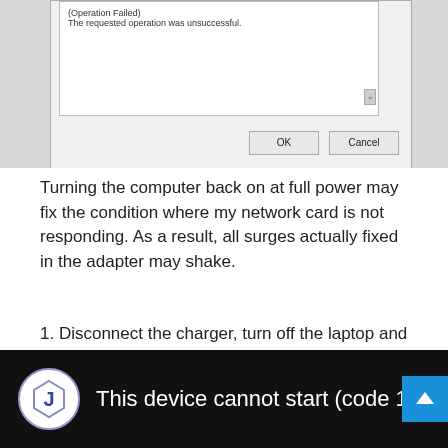[Figure (screenshot): A Windows dialog box showing an error message '(Operation Failed) The requested operation was unsuccessful.' with OK and Cancel buttons]
Turning the computer back on at full power may fix the condition where my network card is not responding. As a result, all surges actually fixed in the adapter may shake.
1. Disconnect the charger, turn off the laptop and remove the battery. you If you are using a desktop computer, unplug allnutrition.
[Figure (screenshot): A video thumbnail with a hexagonal J logo icon, text reading 'This device cannot start (code 10) e...ll d' and a blue scroll-up button arrow]